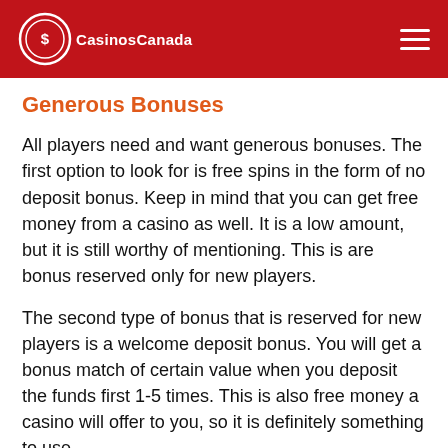CasinosCanada
Generous Bonuses
All players need and want generous bonuses. The first option to look for is free spins in the form of no deposit bonus. Keep in mind that you can get free money from a casino as well. It is a low amount, but it is still worthy of mentioning. This is are bonus reserved only for new players.
The second type of bonus that is reserved for new players is a welcome deposit bonus. You will get a bonus match of certain value when you deposit the funds first 1-5 times. This is also free money a casino will offer to you, so it is definitely something to use.
These two bonuses in countless variations are available for new players. Regular players can use VIP programs, monthly or daily bonuses and also promotions available on